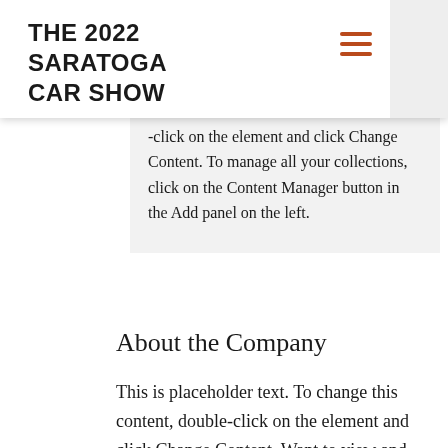THE 2022 SARATOGA CAR SHOW
-click on the element and click Change Content. To manage all your collections, click on the Content Manager button in the Add panel on the left.
About the Company
This is placeholder text. To change this content, double-click on the element and click Change Content. Want to view and manage all your collections? Click on the Content